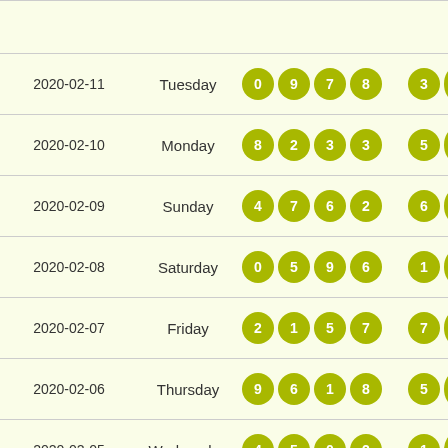| Date | Day | Numbers | Extra |
| --- | --- | --- | --- |
| 2020-02-11 | Tuesday | 0 9 7 8 | 3 4 |
| 2020-02-10 | Monday | 8 2 3 3 | 5 4 |
| 2020-02-09 | Sunday | 4 7 6 2 | 6 0 |
| 2020-02-08 | Saturday | 0 5 9 6 | 1 3 |
| 2020-02-07 | Friday | 2 1 5 7 | 7 2 |
| 2020-02-06 | Thursday | 9 6 1 8 | 5 4 |
| 2020-02-05 | Wednesday | 4 5 0 2 | 1 4 |